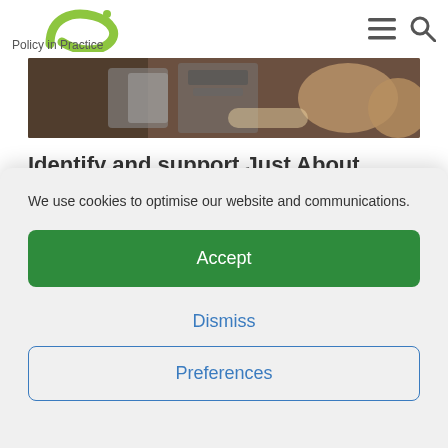[Figure (logo): Policy in Practice logo — green stylized letter P with dot, text reading 'Policy in Practice']
[Figure (photo): Photo strip showing a coffee machine / barista scene, warm brown tones]
Identify and support Just About
We use cookies to optimise our website and communications.
Accept
Dismiss
Preferences